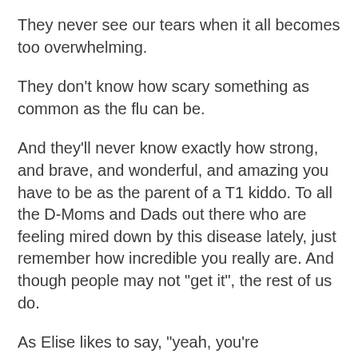They never see our tears when it all becomes too overwhelming.
They don't know how scary something as common as the flu can be.
And they'll never know exactly how strong, and brave, and wonderful, and amazing you have to be as the parent of a T1 kiddo. To all the D-Moms and Dads out there who are feeling mired down by this disease lately, just remember how incredible you really are. And though people may not "get it", the rest of us do.
As Elise likes to say, "yeah, you're AMAZING!"